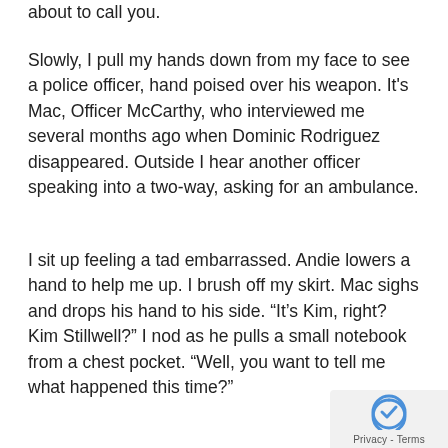about to call you.
Slowly, I pull my hands down from my face to see a police officer, hand poised over his weapon. It's Mac, Officer McCarthy, who interviewed me several months ago when Dominic Rodriguez disappeared. Outside I hear another officer speaking into a two-way, asking for an ambulance.
I sit up feeling a tad embarrassed. Andie lowers a hand to help me up. I brush off my skirt. Mac sighs and drops his hand to his side. “It’s Kim, right? Kim Stillwell?” I nod as he pulls a small notebook from a chest pocket. “Well, you want to tell me what happened this time?”